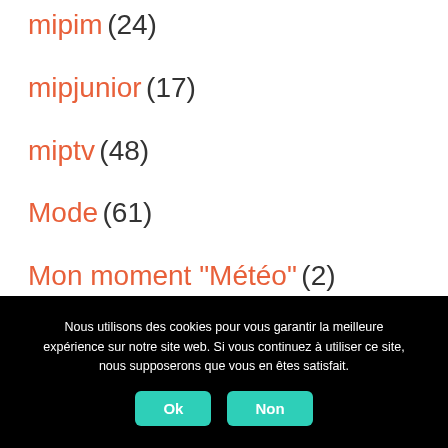mipim (24)
mipjunior (17)
miptv (48)
Mode (61)
Mon moment "Météo" (2)
Envelope resume format (9)
Mon moment de découverte (1)
Nous utilisons des cookies pour vous garantir la meilleure expérience sur notre site web. Si vous continuez à utiliser ce site, nous supposerons que vous en êtes satisfait.
Ok  Non